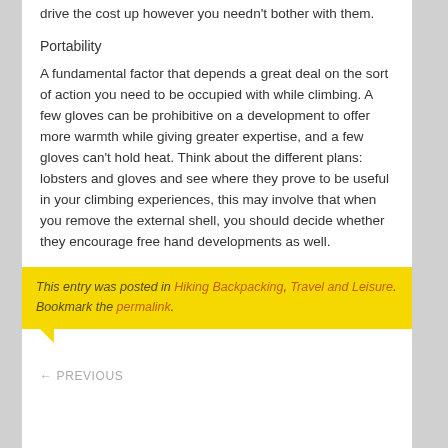drive the cost up however you needn't bother with them.
Portability
A fundamental factor that depends a great deal on the sort of action you need to be occupied with while climbing. A few gloves can be prohibitive on a development to offer more warmth while giving greater expertise, and a few gloves can't hold heat. Think about the different plans: lobsters and gloves and see where they prove to be useful in your climbing experiences, this may involve that when you remove the external shell, you should decide whether they encourage free hand developments as well.
This entry was posted in Hiking Backpacking, Travel and Leisure. Bookmark the permalink.
← PREVIOUS